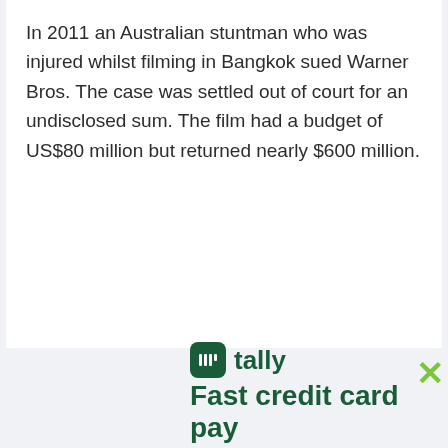In 2011 an Australian stuntman who was injured whilst filming in Bangkok sued Warner Bros. The case was settled out of court for an undisclosed sum. The film had a budget of US$80 million but returned nearly $600 million.
[Figure (logo): Tally app advertisement banner with green logo icon and text 'tally' and 'Fast credit card pay...' truncated]